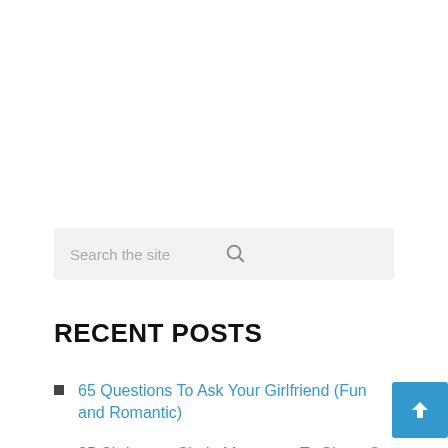[Figure (screenshot): Search bar with placeholder text 'Search the site' and a search icon on the right]
RECENT POSTS
65 Questions To Ask Your Girlfriend (Fun and Romantic)
25 Christmas Chain Messages To Share On WhatsApp